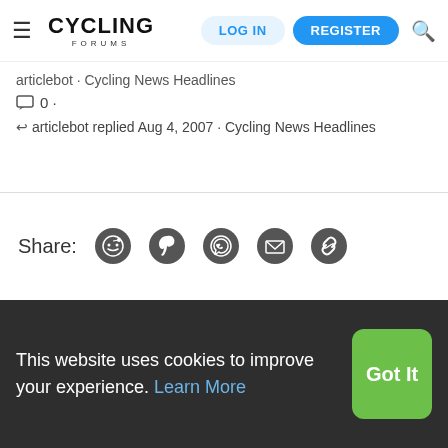CYCLING FORUMS — LOG IN | REGISTER
articlebot · Cycling News Headlines
0 ·
articlebot replied Aug 4, 2007 · Cycling News Headlines
Share:
Contact us   Terms and rules   Privacy policy   Help   Home
This website uses cookies to improve your experience. Learn More  Got It